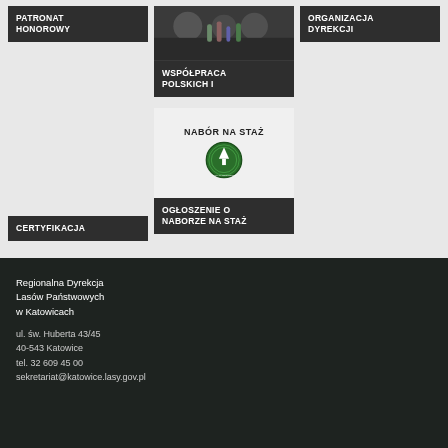[Figure (screenshot): Navigation cards grid with category labels: PATRONAT HONOROWY, WSPÓŁPRACA POLSKICH I, ORGANIZACJA DYREKCJI, CERTYFIKACJA, OGŁOSZENIE O NABORZE NA STAŻ]
Regionalna Dyrekcja Lasów Państwowych w Katowicach
ul. św. Huberta 43/45
40-543 Katowice
tel. 32 609 45 00
sekretariat@katowice.lasy.gov.pl
śledź nasz kanał YT: